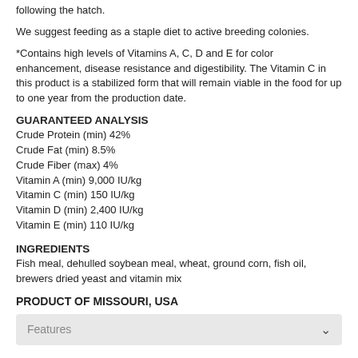following the hatch.
We suggest feeding as a staple diet to active breeding colonies.
*Contains high levels of Vitamins A, C, D and E for color enhancement, disease resistance and digestibility. The Vitamin C in this product is a stabilized form that will remain viable in the food for up to one year from the production date.
GUARANTEED ANALYSIS
Crude Protein (min) 42%
Crude Fat (min) 8.5%
Crude Fiber (max) 4%
Vitamin A (min) 9,000 IU/kg
Vitamin C (min) 150 IU/kg
Vitamin D (min) 2,400 IU/kg
Vitamin E (min) 110 IU/kg
INGREDIENTS
Fish meal, dehulled soybean meal, wheat, ground corn, fish oil, brewers dried yeast and vitamin mix
PRODUCT OF MISSOURI, USA
Features